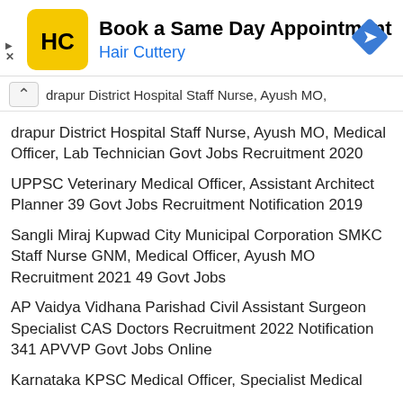[Figure (screenshot): Hair Cuttery advertisement banner with yellow HC logo and blue diamond navigation icon. Text: 'Book a Same Day Appointment' and 'Hair Cuttery']
drapur District Hospital Staff Nurse, Ayush MO, Medical Officer, Lab Technician Govt Jobs Recruitment 2020
UPPSC Veterinary Medical Officer, Assistant Architect Planner 39 Govt Jobs Recruitment Notification 2019
Sangli Miraj Kupwad City Municipal Corporation SMKC Staff Nurse GNM, Medical Officer, Ayush MO Recruitment 2021 49 Govt Jobs
AP Vaidya Vidhana Parishad Civil Assistant Surgeon Specialist CAS Doctors Recruitment 2022 Notification 341 APVVP Govt Jobs Online
Karnataka KPSC Medical Officer, Specialist Medical